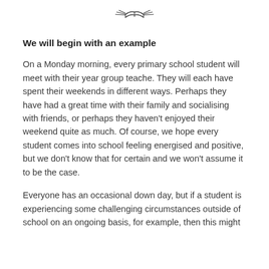[Figure (logo): Open book / wings logo icon centered at top of page]
We will begin with an example
On a Monday morning, every primary school student will meet with their year group teache. They will each have spent their weekends in different ways. Perhaps they have had a great time with their family and socialising with friends, or perhaps they haven't enjoyed their weekend quite as much. Of course, we hope every student comes into school feeling energised and positive, but we don't know that for certain and we won't assume it to be the case.
Everyone has an occasional down day, but if a student is experiencing some challenging circumstances outside of school on an ongoing basis, for example, then this might be into effect as well through their learning and school...